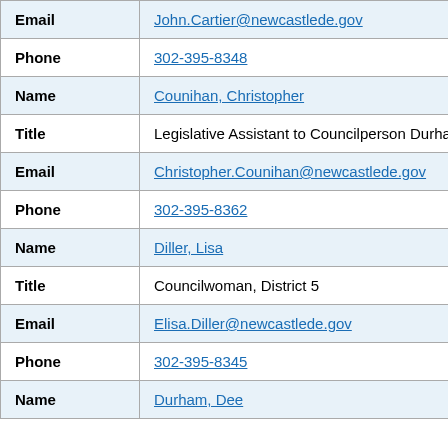| Field | Value |
| --- | --- |
| Email | John.Cartier@newcastlede.gov |
| Phone | 302-395-8348 |
| Name | Counihan, Christopher |
| Title | Legislative Assistant to Councilperson Durham |
| Email | Christopher.Counihan@newcastlede.gov |
| Phone | 302-395-8362 |
| Name | Diller, Lisa |
| Title | Councilwoman, District 5 |
| Email | Elisa.Diller@newcastlede.gov |
| Phone | 302-395-8345 |
| Name | Durham, Dee... |